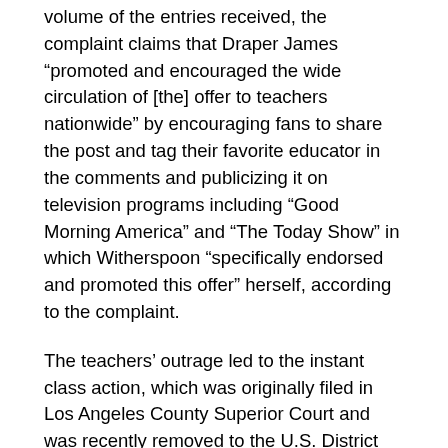volume of the entries received, the complaint claims that Draper James “promoted and encouraged the wide circulation of [the] offer to teachers nationwide” by encouraging fans to share the post and tag their favorite educator in the comments and publicizing it on television programs including “Good Morning America” and “The Today Show” in which Witherspoon “specifically endorsed and promoted this offer” herself, according to the complaint.
The teachers’ outrage led to the instant class action, which was originally filed in Los Angeles County Superior Court and was recently removed to the U.S. District Court for the Central District of California. The suit asserts causes of action for breach of contract and violation of the California Consumer Legal Remedies Act (CLRA) and Unfair Competition Law (UCL), including a claim that Witherspoon and Draper James violated the California Consumer Privacy Act (“CCPA”). The Complaint alleges that Draper James made an offer, promising new dresses in exchange for